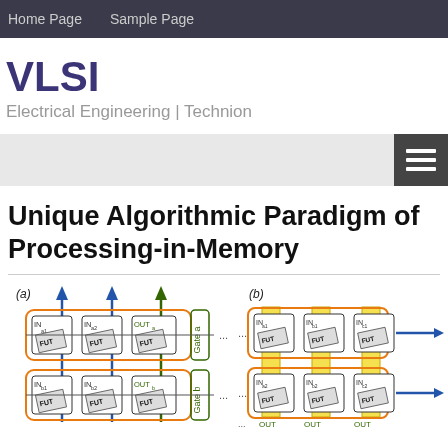Home Page   Sample Page
VLSI
Electrical Engineering | Technion
Unique Algorithmic Paradigm of Processing-in-Memory
[Figure (schematic): Circuit schematic showing Processing-in-Memory (PIM) paradigm. Part (a) shows a row-based arrangement with bitcells labeled IN_a1, IN_a2, OUT_a in Gate a row, and IN_b1, IN_b2, OUT_b in Gate b row, with blue and green downward arrows indicating bit-line inputs. Part (b) shows a column-based arrangement with bitcells labeled IN_a1, IN_b1, IN_c1 in top row and IN_a2, IN_b2, IN_c2 in bottom row, with OUT_a, OUT_b, OUT_c outputs and blue horizontal arrows indicating word-line access.]